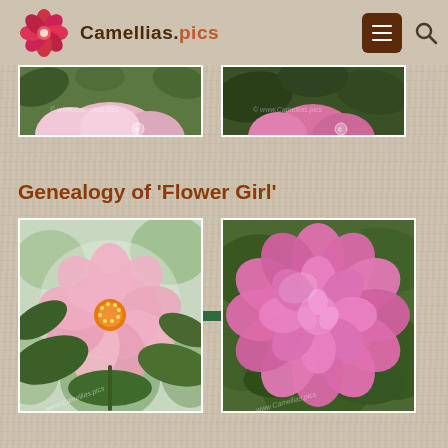Camellias.pics
[Figure (photo): Two partial camellia flower photos at top of page, one showing a light pink camellia blossom with green leaves, another showing a deeper pink camellia with dark glossy leaves]
Genealogy of 'Flower Girl'
[Figure (photo): Genealogy diagram showing two camellia photos side by side connected by a green horizontal bar. Left photo: open light pink camellia flower with visible stamens on green leafy background. Right photo: full double pink camellia bloom (Flower Girl) with deep pink petals on green leafy background. Both photos have watermark text 'www.Camellias.pics'.]